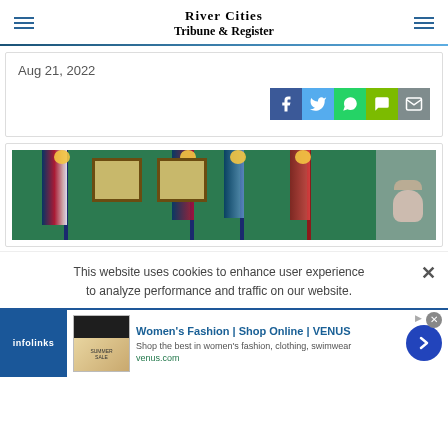River Cities Tribune & Register
Aug 21, 2022
[Figure (other): Social share buttons: Facebook (blue), Twitter (light blue), WhatsApp (green), Message (yellow-green), Email (gray)]
[Figure (photo): Photo of a room with green wall, American flags and other flags on poles, two framed certificates on wall, and a person partially visible on the right side]
This website uses cookies to enhance user experience to analyze performance and traffic on our website.
[Figure (other): Advertisement: Women's Fashion | Shop Online | VENUS. Shop the best in women's fashion, clothing, swimwear. venus.com. With infolinks badge and close button.]